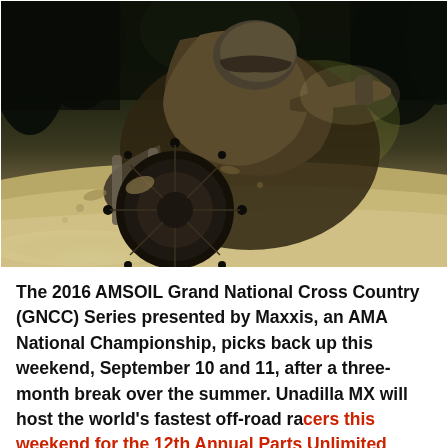[Figure (photo): A motocross / off-road dirt bike rider covered in mud cornering aggressively on a dirt trail, leaning the bike hard with the rear wheel kicking up dust and dirt. Dark forest trees visible in background, bright sunlight on sandy dirt foreground.]
The 2016 AMSOIL Grand National Cross Country (GNCC) Series presented by Maxxis, an AMA National Championship, picks back up this weekend, September 10 and 11, after a three-month break over the summer. Unadilla MX will host the world's fastest off-road racers this weekend for the 12th Annual Parts Unlimited